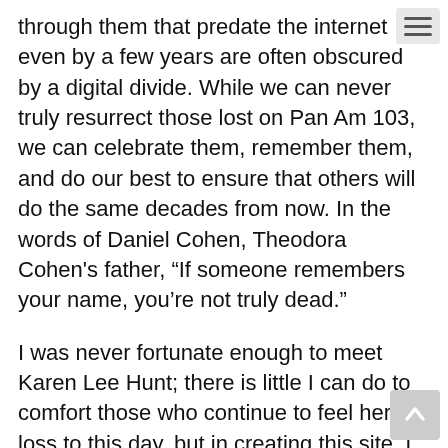through them that predate the internet even by a few years are often obscured by a digital divide. While we can never truly resurrect those lost on Pan Am 103, we can celebrate them, remember them, and do our best to ensure that others will do the same decades from now. In the words of Daniel Cohen, Theodora Cohen's father, “If someone remembers your name, you’re not truly dead.”
I was never fortunate enough to meet Karen Lee Hunt; there is little I can do to comfort those who continue to feel her loss to this day, but in creating this site, I hope that I can keep the memory of the kind young woman with the enormous, haunting brown eyes alive.
Thank you for the inspiration, Karen. I wish we could